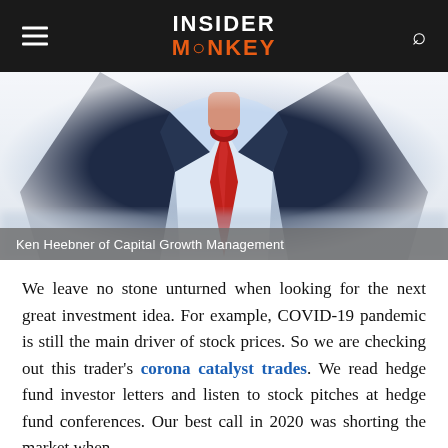INSIDER MONKEY
[Figure (illustration): Illustration of a suited businessman with a red tie, showing torso only, with a blurred painterly style. The figure wears a dark navy suit and light blue shirt.]
Ken Heebner of Capital Growth Management
We leave no stone unturned when looking for the next great investment idea. For example, COVID-19 pandemic is still the main driver of stock prices. So we are checking out this trader’s corona catalyst trades. We read hedge fund investor letters and listen to stock pitches at hedge fund conferences. Our best call in 2020 was shorting the market when